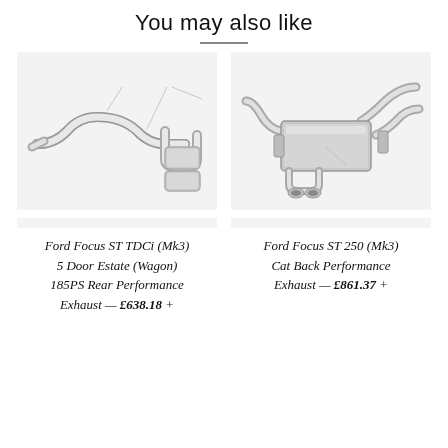You may also like
[Figure (photo): Ford Focus ST TDCi Mk3 5 Door Estate rear performance exhaust system, stainless steel, shown as a product photo on light grey background]
[Figure (photo): Ford Focus ST 250 Mk3 cat back performance exhaust system, stainless steel with quad tips, shown as a product photo on light grey background]
Ford Focus ST TDCi (Mk3) 5 Door Estate (Wagon) 185PS Rear Performance Exhaust — £638.18 +
Ford Focus ST 250 (Mk3) Cat Back Performance Exhaust — £861.37 +